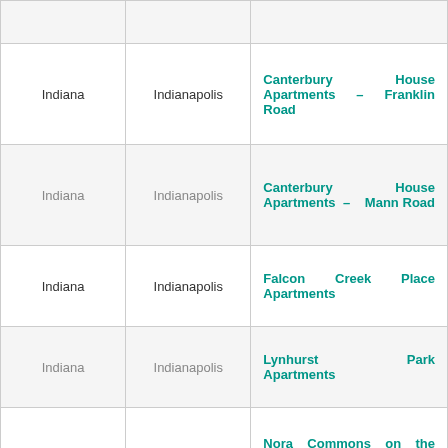| State | City | Property |
| --- | --- | --- |
| Indiana | Indianapolis | Canterbury House Apartments – Franklin Road |
| Indiana | Indianapolis | Canterbury House Apartments – Mann Road |
| Indiana | Indianapolis | Falcon Creek Place Apartments |
| Indiana | Indianapolis | Lynhurst Park Apartments |
| Indiana | Indianapolis | Nora Commons on the Monon Senior Apartments |